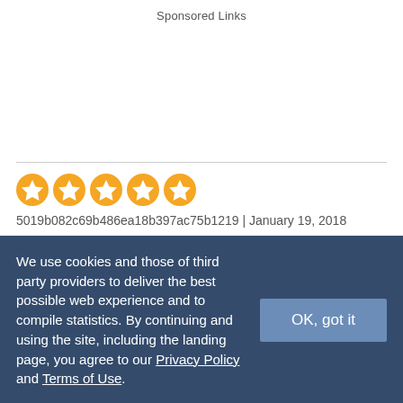Sponsored Links
[Figure (other): Advertisement/sponsored content area (blank white space)]
[Figure (other): Five orange star rating icons indicating a 5-star review]
5019b082c69b486ea18b397ac75b1219 | January 19, 2018
Was this review helpful?  👍 3  👎 7
Report Inappropriate Comment
We use cookies and those of third party providers to deliver the best possible web experience and to compile statistics. By continuing and using the site, including the landing page, you agree to our Privacy Policy and Terms of Use.